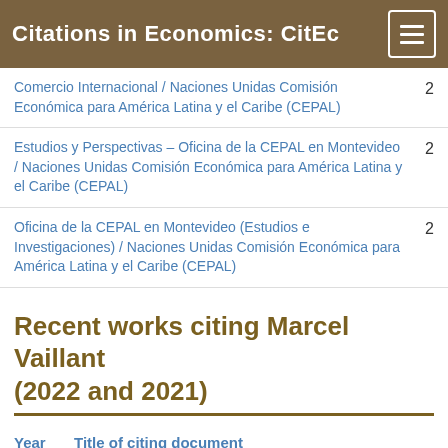Citations in Economics: CitEc
Comercio Internacional / Naciones Unidas Comisión Económica para América Latina y el Caribe (CEPAL)	2
Estudios y Perspectivas – Oficina de la CEPAL en Montevideo / Naciones Unidas Comisión Económica para América Latina y el Caribe (CEPAL)	2
Oficina de la CEPAL en Montevideo (Estudios e Investigaciones) / Naciones Unidas Comisión Económica para América Latina y el Caribe (CEPAL)	2
Recent works citing Marcel Vaillant (2022 and 2021)
| Year | Title of citing document |
| --- | --- |
|  | The Policy Implications of Economic Complexity. |